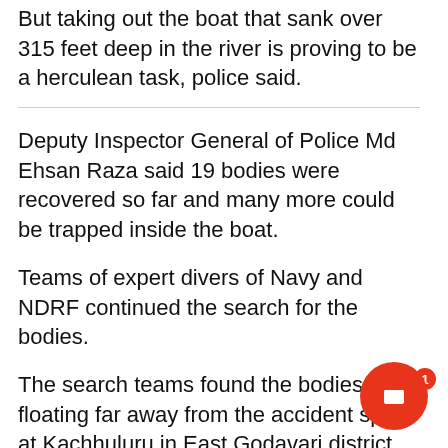But taking out the boat that sank over 315 feet deep in the river is proving to be a herculean task, police said.
Deputy Inspector General of Police Md Ehsan Raza said 19 bodies were recovered so far and many more could be trapped inside the boat.
Teams of expert divers of Navy and NDRF continued the search for the bodies.
The search teams found the bodies floating far away from the accident spot at Kachhuluru in East Godavari district.
One body was found near the coffee dam